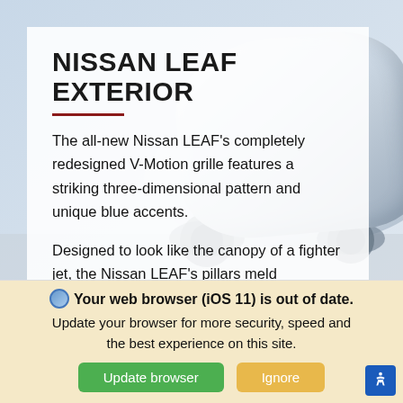[Figure (photo): Background photo of a silver/white Nissan LEAF car, rear three-quarter view, against a light sky background]
NISSAN LEAF EXTERIOR
The all-new Nissan LEAF's completely redesigned V-Motion grille features a striking three-dimensional pattern and unique blue accents.
Designed to look like the canopy of a fighter jet, the Nissan LEAF's pillars meld seamlessely into the glassowrk so the roof appears to float over the cabin.
As brilliant at lighting the road as they are
Your web browser (iOS 11) is out of date. Update your browser for more security, speed and the best experience on this site.
Update browser
Ignore